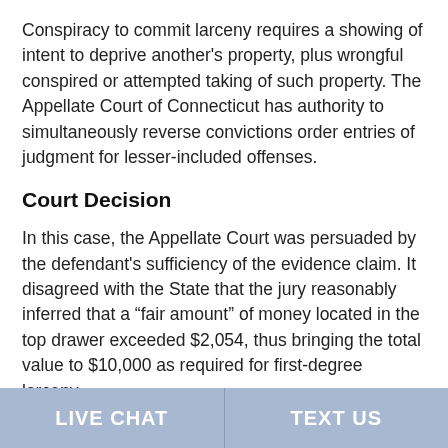Conspiracy to commit larceny requires a showing of intent to deprive another’s property, plus wrongful conspired or attempted taking of such property. The Appellate Court of Connecticut has authority to simultaneously reverse convictions order entries of judgment for lesser-included offenses.
Court Decision
In this case, the Appellate Court was persuaded by the defendant’s sufficiency of the evidence claim. It disagreed with the State that the jury reasonably inferred that a “fair amount” of money located in the top drawer exceeded $2,054, thus bringing the total value to $10,000 as required for first-degree larceny.
LIVE CHAT   TEXT US